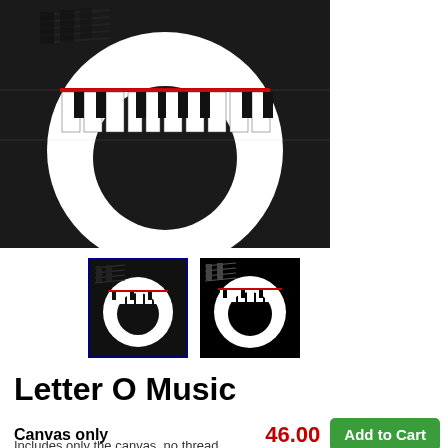[Figure (photo): Main product image of Letter O Music needlepoint canvas — black and white halftone-style letter O with piano keyboard and musical notes, red horizontal accent line]
[Figure (photo): Thumbnail 1 (selected, blue border): small version of Letter O Music canvas on white background]
[Figure (photo): Thumbnail 2: small version of Letter O Music canvas on black background]
Letter O Music
Canvas only
46.00
Add to Cart
Includes only the canvas, no thread